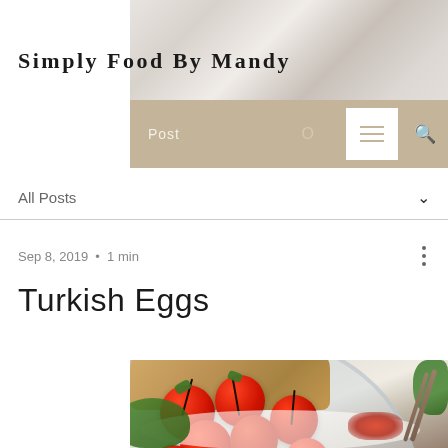Simply Food By Mandy
Post
All Posts
Sep 8, 2019 · 1 min
Turkish Eggs
[Figure (photo): Top-down photo of a bowl of Turkish eggs with roasted cherry tomatoes on the vine, avocado slices, herbs, sauce, and bread on the side]